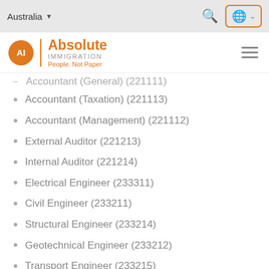Australia — navigation bar with search and globe/language button
[Figure (logo): Absolute Immigration logo — orange circle with 'AI', orange text 'Absolute IMMIGRATION People. Not Paper', hamburger menu icon]
Accountant (General) (221111)
Accountant (Taxation) (221113)
Accountant (Management) (221112)
External Auditor (221213)
Internal Auditor (221214)
Electrical Engineer (233311)
Civil Engineer (233211)
Structural Engineer (233214)
Geotechnical Engineer (233212)
Transport Engineer (233215)
Mining Engineer (233611)
Petroleum Engineer (233612)